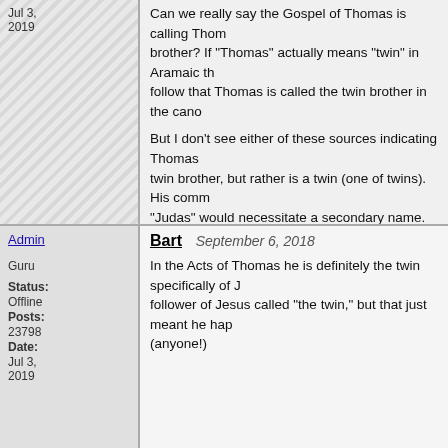Jul 3, 2019
Can we really say the Gospel of Thomas is calling Thomas Jesus' twin brother? If "Thomas" actually means "twin" in Aramaic the it doesn't follow that Thomas is called the twin brother in the canon.

But I don't see either of these sources indicating Thomas is Jesus' twin brother, but rather is a twin (one of twins). His common name of "Judas" would necessitate a secondary name. Seems to me that "twin" is such an identifier.

Knowing that James was said to be Jesus' brother, why wouldn't Thomas all the more so have been identified as such if it were true?

Am I missing something?
Admin
Guru
Status: Offline
Posts: 23798
Date: Jul 3, 2019
Bart  September 6, 2018
In the Acts of Thomas he is definitely the twin specifically of J follower of Jesus called "the twin," but that just meant he hap (anyone!)